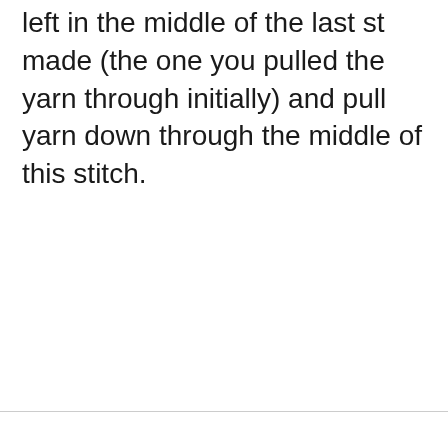left in the middle of the last st made (the one you pulled the yarn through initially) and pull yarn down through the middle of this stitch.